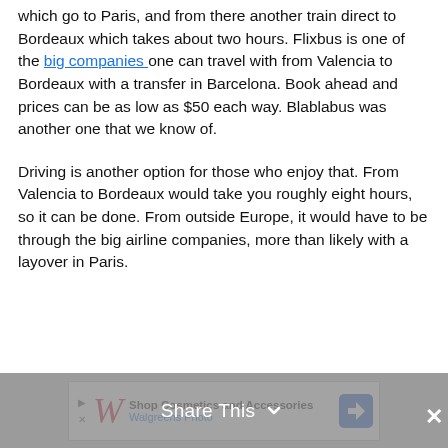which go to Paris, and from there another train direct to Bordeaux which takes about two hours. Flixbus is one of the big companies one can travel with from Valencia to Bordeaux with a transfer in Barcelona. Book ahead and prices can be as low as $50 each way. Blablabus was another one that we know of.
Driving is another option for those who enjoy that. From Valencia to Bordeaux would take you roughly eight hours, so it can be done. From outside Europe, it would have to be through the big airline companies, more than likely with a layover in Paris.
[Figure (other): Walgreens advertisement banner: Shop Cosmetics and Accessories at Walgreens Photo, with navigation arrow icon]